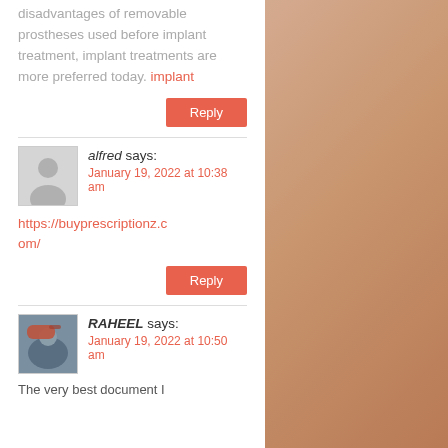disadvantages of removable prostheses used before implant treatment, implant treatments are more preferred today. implant
Reply
alfred says: January 19, 2022 at 10:38 am
https://buyprescriptionz.com/
Reply
RAHEEL says: January 19, 2022 at 10:50 am
The very best document I